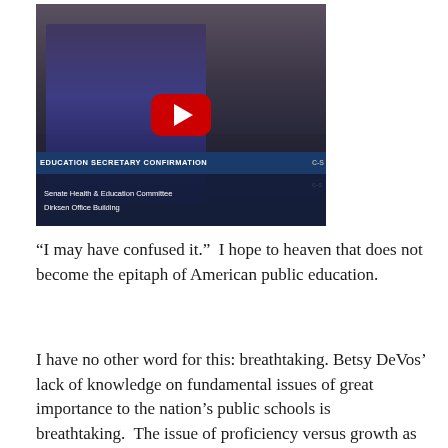[Figure (screenshot): YouTube video thumbnail showing a woman (Betsy DeVos) at a Senate confirmation hearing. Lower-third graphic reads 'EDUCATION SECRETARY CONFIRMATION' and 'Senate Health & Education Committee / Dirksen Office Building'. C-SPAN branding visible. Red YouTube play button overlaid in center.]
“I may have confused it.”  I hope to heaven that does not become the epitaph of American public education.
I have no other word for this: breathtaking.  Betsy DeVos’ lack of knowledge on fundamental issues of great importance to the nation’s public schools is breathtaking.  The issue of proficiency versus growth as a measure